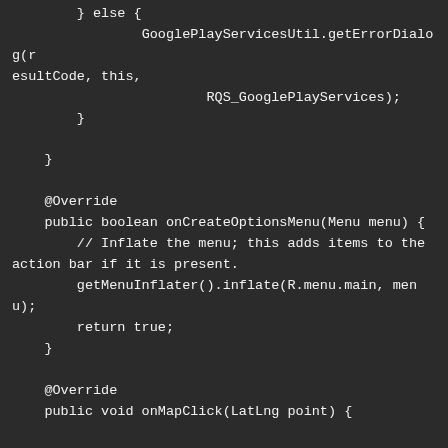[Figure (screenshot): A dark-themed code editor screenshot showing Java/Android code. The code shows a closing else block with GooglePlayServicesUtil.getErrorDialog call, followed by an @Override public boolean onCreateOptionsMenu method that inflates a menu and returns true, and then an @Override public void onMapClick method that calls myMap.animateCamera with CameraUpdateFactory.newLatLng.]